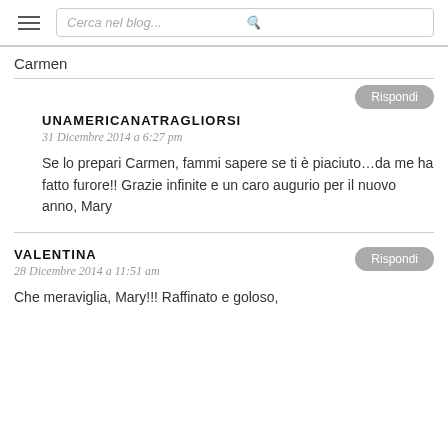Cerca nel blog...
Carmen
UNAMERICANATRAGLIORSI
31 Dicembre 2014 a 6:27 pm
Se lo prepari Carmen, fammi sapere se ti è piaciuto...da me ha fatto furore!! Grazie infinite e un caro augurio per il nuovo anno, Mary
VALENTINA
28 Dicembre 2014 a 11:51 am
Che meraviglia, Mary!!! Raffinato e goloso,